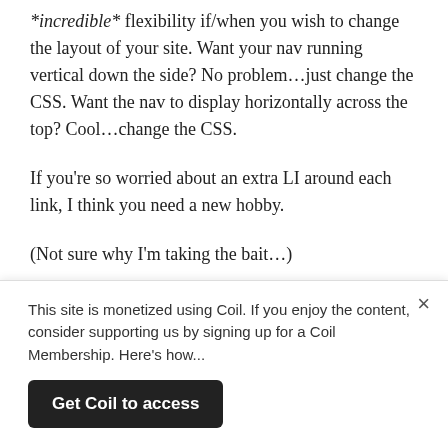*incredible* flexibility if/when you wish to change the layout of your site. Want your nav running vertical down the side? No problem…just change the CSS. Want the nav to display horizontally across the top? Cool…change the CSS.
If you're so worried about an extra LI around each link, I think you need a new hobby.
(Not sure why I'm taking the bait…)
Anyway, great *useful* article Dave. Most of us appreciate it.
[Figure (other): Red badge/button showing the number 40]
This site is monetized using Coil. If you enjoy the content, consider supporting us by signing up for a Coil Membership. Here's how...
Get Coil to access